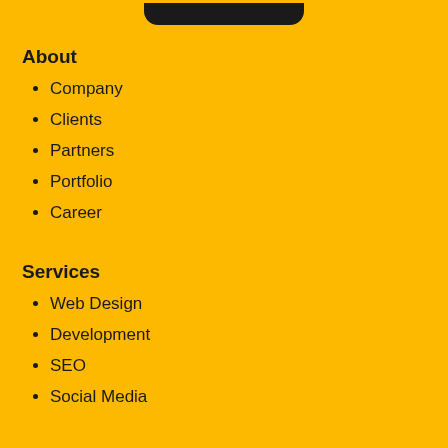[Figure (other): Top black rounded bar element (phone notch or logo bar) partially visible at top of page]
About
Company
Clients
Partners
Portfolio
Career
Services
Web Design
Development
SEO
Social Media